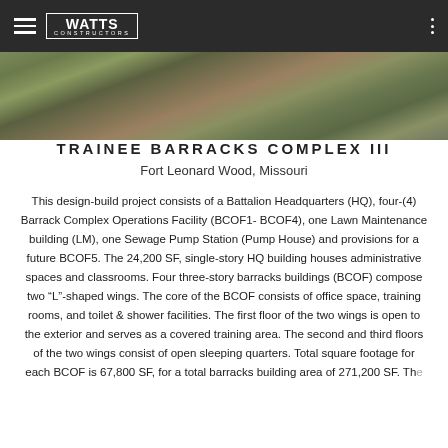WATTS CONSTRUCTORS
[Figure (photo): Aerial drone photograph of a military barracks construction site showing building foundations and surrounding landscape]
TRAINEE BARRACKS COMPLEX III
Fort Leonard Wood, Missouri
This design-build project consists of a Battalion Headquarters (HQ), four-(4) Barrack Complex Operations Facility (BCOF1-BCOF4), one Lawn Maintenance building (LM), one Sewage Pump Station (Pump House) and provisions for a future BCOF5. The 24,200 SF, single-story HQ building houses administrative spaces and classrooms. Four three-story barracks buildings (BCOF) compose two "L"-shaped wings. The core of the BCOF consists of office space, training rooms, and toilet & shower facilities. The first floor of the two wings is open to the exterior and serves as a covered training area. The second and third floors of the two wings consist of open sleeping quarters. Total square footage for each BCOF is 67,800 SF, for a total barracks building area of 271,200 SF. The site also includes underground stormwater...